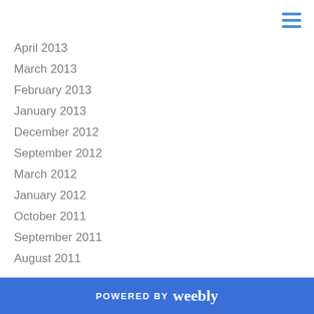April 2013
March 2013
February 2013
January 2013
December 2012
September 2012
March 2012
January 2012
October 2011
September 2011
August 2011
July 2011
June 2011
POWERED BY weebly